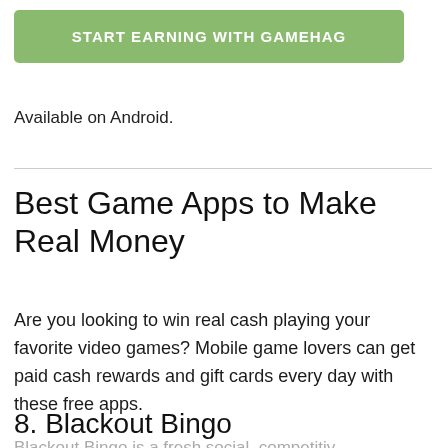[Figure (other): Green button labeled START EARNING WITH GAMEHAG]
Available on Android.
Best Game Apps to Make Real Money
Are you looking to win real cash playing your favorite video games? Mobile game lovers can get paid cash rewards and gift cards every day with these free apps.
8. Blackout Bingo
Blackout Bingo is a fresh social, competitiv…